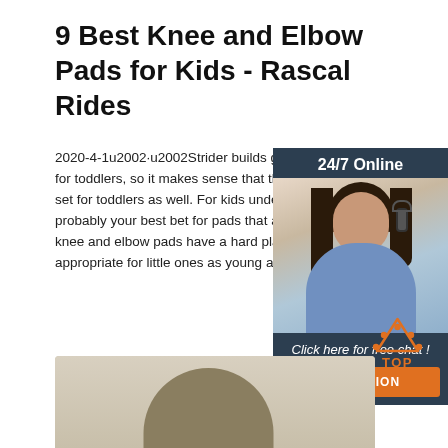9 Best Knee and Elbow Pads for Kids - Rascal Rides
2020-4-1u2002·u2002Strider builds great balance bikes for toddlers, so it makes sense that they would make a set for toddlers as well. For kids under 5, the Strider is probably your best bet for pads that actually fit. These knee and elbow pads have a hard plastic exterior and appropriate for little ones as young as 18 months.
[Figure (photo): Chat widget with woman wearing headset, 24/7 Online label, Click here for free chat text, and QUOTATION orange button]
Get Price
[Figure (logo): Orange TOP arrow logo with dots]
[Figure (photo): Bottom portion of a protective helmet/pad product in olive/tan color]